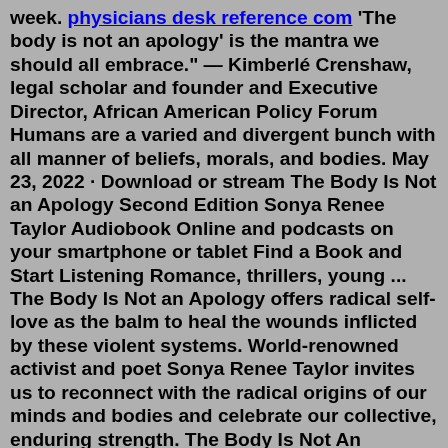week. physicians desk reference com 'The body is not an apology' is the mantra we should all embrace." — Kimberlé Crenshaw, legal scholar and founder and Executive Director, African American Policy Forum Humans are a varied and divergent bunch with all manner of beliefs, morals, and bodies. May 23, 2022 · Download or stream The Body Is Not an Apology Second Edition Sonya Renee Taylor Audiobook Online and podcasts on your smartphone or tablet Find a Book and Start Listening Romance, thrillers, young ... The Body Is Not an Apology offers radical self-love as the balm to heal the wounds inflicted by these violent systems. World-renowned activist and poet Sonya Renee Taylor invites us to reconnect with the radical origins of our minds and bodies and celebrate our collective, enduring strength. The Body Is Not An Apology is a digital media and education company committed to cultivating Radical Self Love as the foundational tool for social justice and global transformation whose content and programming